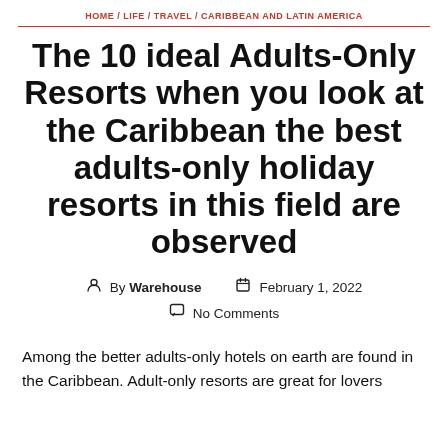HOME / LIFE / TRAVEL / CARIBBEAN AND LATIN AMERICA
The 10 ideal Adults-Only Resorts when you look at the Caribbean the best adults-only holiday resorts in this field are observed
By Warehouse   February 1, 2022   No Comments
Among the better adults-only hotels on earth are found in the Caribbean. Adult-only resorts are great for lovers